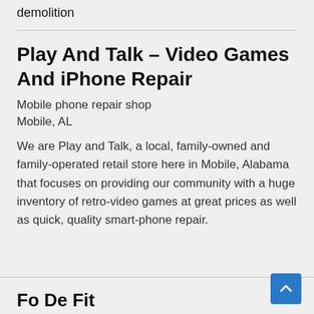demolition
Play And Talk – Video Games And iPhone Repair
Mobile phone repair shop
Mobile, AL
We are Play and Talk, a local, family-owned and family-operated retail store here in Mobile, Alabama that focuses on providing our community with a huge inventory of retro-video games at great prices as well as quick, quality smart-phone repair.
Fo De Fit...